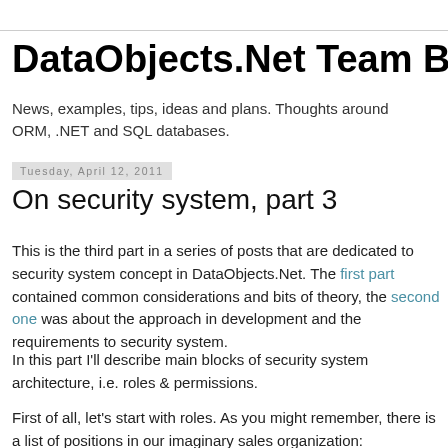DataObjects.Net Team Blog
News, examples, tips, ideas and plans. Thoughts around ORM, .NET and SQL databases.
Tuesday, April 12, 2011
On security system, part 3
This is the third part in a series of posts that are dedicated to security system concept in DataObjects.Net. The first part contained common considerations and bits of theory, the second one was about the approach in development and the requirements to security system.
In this part I'll describe main blocks of security system architecture, i.e. roles & permissions.
First of all, let's start with roles. As you might remember, there is a list of positions in our imaginary sales organization: